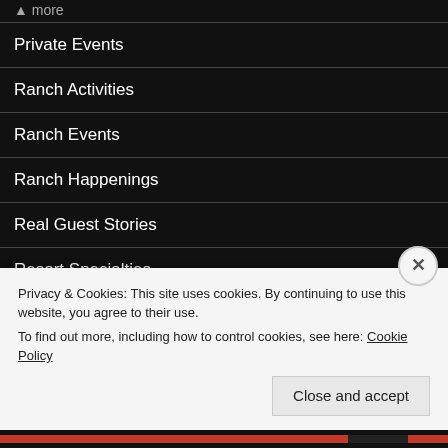Private Events
Ranch Activities
Ranch Events
Ranch Happenings
Real Guest Stories
Resort Specialties
Special Packages
Uncategorized
Privacy & Cookies: This site uses cookies. By continuing to use this website, you agree to their use.
To find out more, including how to control cookies, see here: Cookie Policy
Close and accept